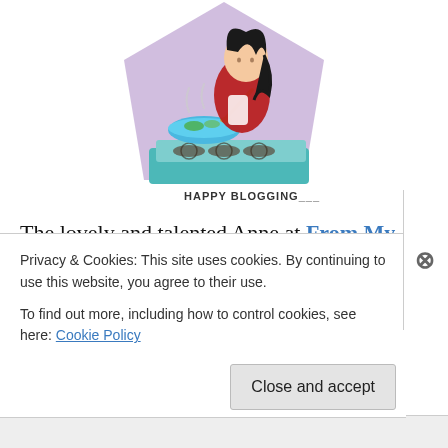[Figure (illustration): Illustration of a woman with dark hair stirring a green bowl on a stovetop, set against a purple pentagon background. Below the image is the text 'HAPPY BLOGGING___']
The lovely and talented Anne at From My Sweet Heart blog has been kind enough to give me this blogging award. In fact, it's a cooking award, so I'm especially flattered. I don't really consider myself a food blogger.
Privacy & Cookies: This site uses cookies. By continuing to use this website, you agree to their use.
To find out more, including how to control cookies, see here: Cookie Policy
Close and accept